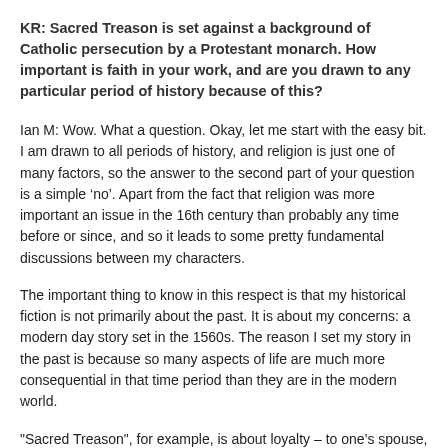KR: Sacred Treason is set against a background of Catholic persecution by a Protestant monarch. How important is faith in your work, and are you drawn to any particular period of history because of this?
Ian M: Wow. What a question. Okay, let me start with the easy bit. I am drawn to all periods of history, and religion is just one of many factors, so the answer to the second part of your question is a simple ‘no’. Apart from the fact that religion was more important an issue in the 16th century than probably any time before or since, and so it leads to some pretty fundamental discussions between my characters.
The important thing to know in this respect is that my historical fiction is not primarily about the past. It is about my concerns: a modern day story set in the 1560s. The reason I set my story in the past is because so many aspects of life are much more consequential in that time period than they are in the modern world.
"Sacred Treason", for example, is about loyalty – to one’s spouse, to one’s state, and to one’s religion. All those things